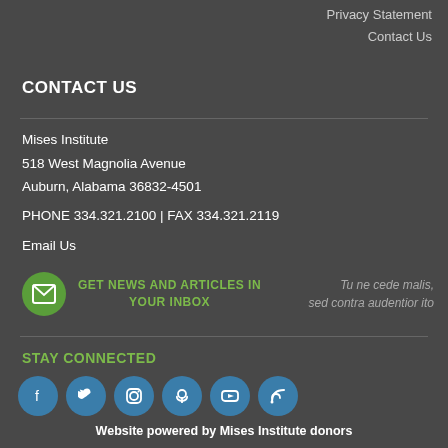Privacy Statement
Contact Us
CONTACT US
Mises Institute
518 West Magnolia Avenue
Auburn, Alabama 36832-4501
PHONE 334.321.2100 | FAX 334.321.2119
Email Us
[Figure (infographic): Green circle with envelope icon, green text 'GET NEWS AND ARTICLES IN YOUR INBOX', and italic Latin quote 'Tu ne cede malis, sed contra audentior ito']
STAY CONNECTED
[Figure (infographic): Row of six blue circular social media icons: Facebook, Twitter, Instagram, Podcast, YouTube, RSS feed]
Website powered by Mises Institute donors